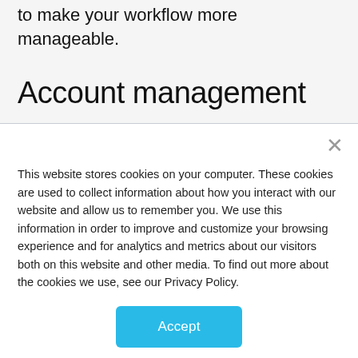to make your workflow more manageable.
Account management
This website stores cookies on your computer. These cookies are used to collect information about how you interact with our website and allow us to remember you. We use this information in order to improve and customize your browsing experience and for analytics and metrics about our visitors both on this website and other media. To find out more about the cookies we use, see our Privacy Policy.
Accept